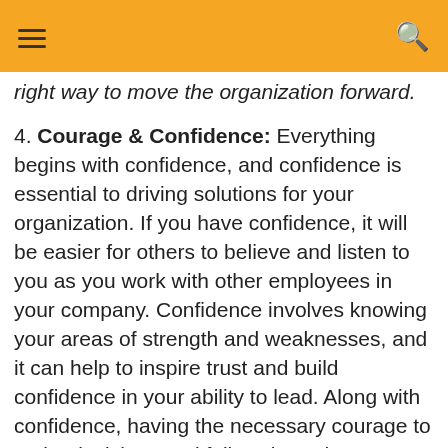≡  🔍
right way to move the organization forward.
4. Courage & Confidence: Everything begins with confidence, and confidence is essential to driving solutions for your organization. If you have confidence, it will be easier for others to believe and listen to you as you work with other employees in your company. Confidence involves knowing your areas of strength and weaknesses, and it can help to inspire trust and build confidence in your ability to lead. Along with confidence, having the necessary courage to make decisions and follow through on your plans is essential for a successful career. The fear of making the wrong and making a mistake has kept many people from coming forward with their opinions in an organization. Courageous people are different; they understand that mistakes provide a learning opportunity and it helps to develop them to make a better decision next time.